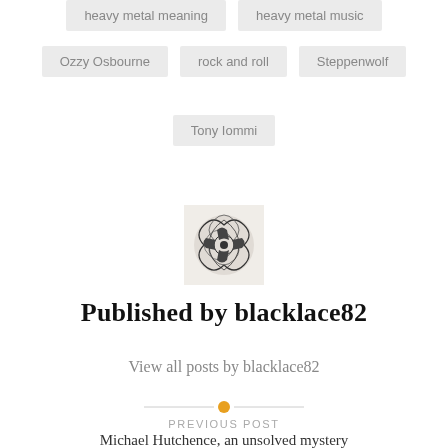heavy metal meaning
heavy metal music
Ozzy Osbourne
rock and roll
Steppenwolf
Tony Iommi
[Figure (illustration): Small square decorative black and white illustration with ornate floral/scroll pattern, avatar image for blacklace82]
Published by blacklace82
View all posts by blacklace82
PREVIOUS POST
Michael Hutchence, an unsolved mystery